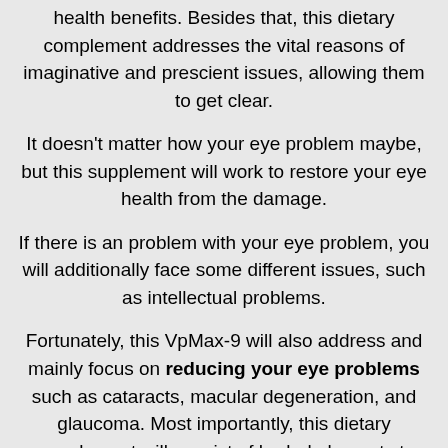health benefits. Besides that, this dietary complement addresses the vital reasons of imaginative and prescient issues, allowing them to get clear.
It doesn't matter how your eye problem maybe, but this supplement will work to restore your eye health from the damage.
If there is an problem with your eye problem, you will additionally face some different issues, such as intellectual problems.
Fortunately, this VpMax-9 will also address and mainly focus on reducing your eye problems such as cataracts, macular degeneration, and glaucoma. Most importantly, this dietary complement will consist of herbal elements to enhance visible fitness and defend your eyes from similarly problems.